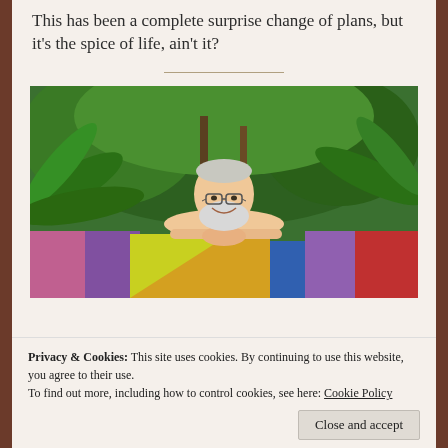This has been a complete surprise change of plans, but it's the spice of life, ain't it?
[Figure (photo): An older man with white beard and glasses leans over a colorful painted wall with tropical trees and foliage in the background.]
Privacy & Cookies: This site uses cookies. By continuing to use this website, you agree to their use.
To find out more, including how to control cookies, see here: Cookie Policy